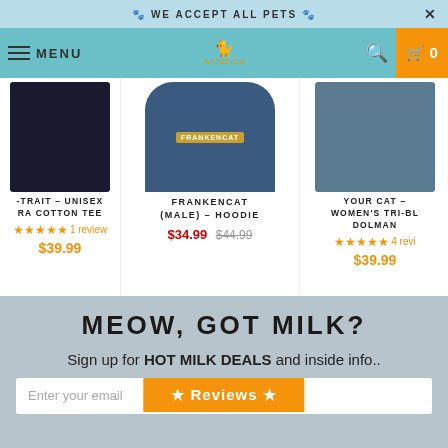🐾 WE ACCEPT ALL PETS 🐾
[Figure (screenshot): E-commerce website navigation bar with hamburger menu, Art Star Cat logo, search icon, and shopping cart button showing 0 items]
[Figure (photo): Product row showing three items: a black unisex ultra cotton tee (partially visible), a blue Frankencat male hoodie, and a blue women's tri-blend dolman (partially visible)]
-TRAIT - UNISEX
RA COTTON TEE
★★★★★ 1 review
$39.99
FRANKENCAT
(MALE) - HOODIE
$34.99 $44.99
YOUR CAT -
WOMEN'S TRI-BL
DOLMAN
★★★★★ 4 revi
$39.99
MEOW, GOT MILK?
Sign up for HOT MILK DEALS and inside info..
Enter your email
★ Reviews ★